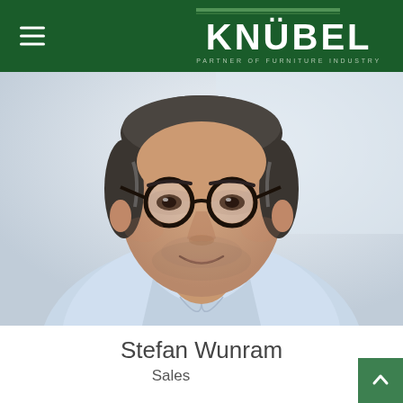KNÜBEL — PARTNER OF FURNITURE INDUSTRY
[Figure (photo): Professional headshot of Stefan Wunram, a middle-aged man with round dark-framed glasses, salt-and-pepper hair, wearing a light blue shirt, smiling, against a light background.]
Stefan Wunram
Sales